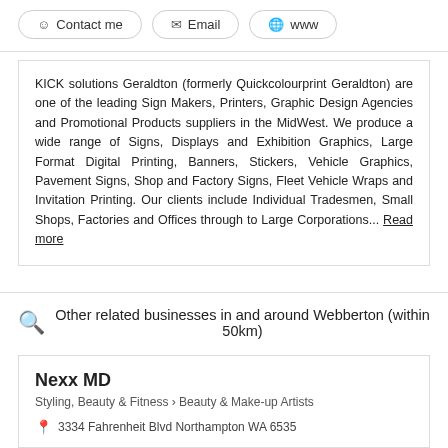Contact me | Email | www
KICK solutions Geraldton (formerly Quickcolourprint Geraldton) are one of the leading Sign Makers, Printers, Graphic Design Agencies and Promotional Products suppliers in the MidWest. We produce a wide range of Signs, Displays and Exhibition Graphics, Large Format Digital Printing, Banners, Stickers, Vehicle Graphics, Pavement Signs, Shop and Factory Signs, Fleet Vehicle Wraps and Invitation Printing. Our clients include Individual Tradesmen, Small Shops, Factories and Offices through to Large Corporations... Read more
Other related businesses in and around Webberton (within 50km)
Nexx MD
Styling, Beauty & Fitness > Beauty & Make-up Artists
3334 Fahrenheit Blvd Northampton WA 6535